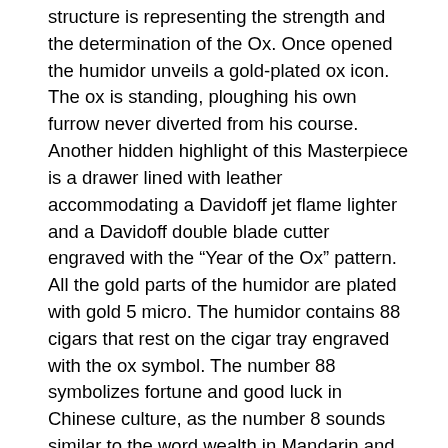structure is representing the strength and the determination of the Ox. Once opened the humidor unveils a gold-plated ox icon. The ox is standing, ploughing his own furrow never diverted from his course. Another hidden highlight of this Masterpiece is a drawer lined with leather accommodating a Davidoff jet flame lighter and a Davidoff double blade cutter engraved with the “Year of the Ox” pattern. All the gold parts of the humidor are plated with gold 5 micro. The humidor contains 88 cigars that rest on the cigar tray engraved with the ox symbol. The number 88 symbolizes fortune and good luck in Chinese culture, as the number 8 sounds similar to the word wealth in Mandarin and Cantonese and is considered the luckiest number in the Chinese culture. The shape of the Chinese character for 8, which starts narrow and gets wide towards the bottom, implies that a person will have a great and wide future. The “Year of the Ox”-humidor has been created for Davidoff by the luxury craft company Moevus in Virieu le Grand (France). The company possesses rare and unique know-how in the mastery of woodworking, marquetry and varnishing and is one of the prestigious labels